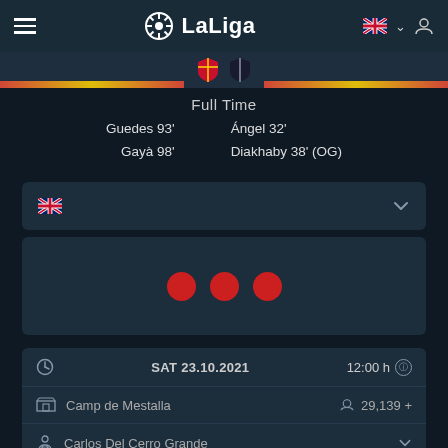LaLiga
Full Time
Guedes 93'
Gayà 98'
Ángel 32'
Diakhaby 38' (OG)
[Figure (screenshot): Language selector dropdown panel with UK flag]
[Figure (infographic): Three red loading dots on dark background]
SAT 23.10.2021   12:00 h
Camp de Mestalla   29,139 +
Carlos Del Cerro Grande